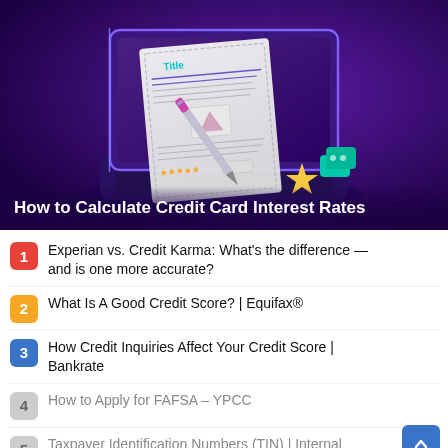[Figure (illustration): Stylized illustration of a laptop with a document on screen labeled 'Title', a pen resting on paper, a star and teal blocks — purple/dark background. Text overlay: 'How to Calculate Credit Card Interest Rates']
Experian vs. Credit Karma: What's the difference — and is one more accurate?
What Is A Good Credit Score? | Equifax®
How Credit Inquiries Affect Your Credit Score | Bankrate
How to Apply for FAFSA – YPCC
Taxpayer Identification Numbers (TIN) | Internal...